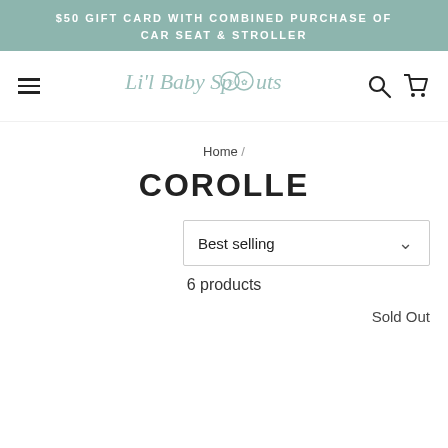$50 GIFT CARD WITH COMBINED PURCHASE OF CAR SEAT & STROLLER
[Figure (logo): Lil Baby Sprouts logo with decorative circular icons]
Home /
COROLLE
Best selling
6 products
Sold Out